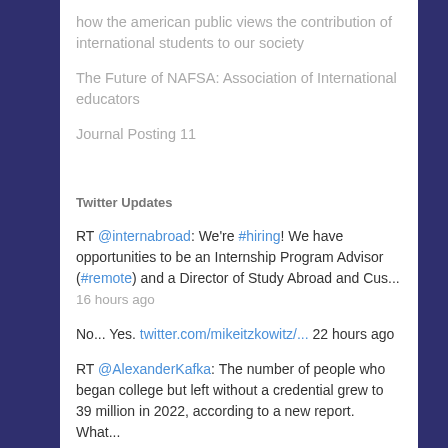how the american public views the contribution of international students to our society
The Future of NAFSA: Association of International educators
Journal Posting 11
Twitter Updates
RT @internabroad: We're #hiring! We have opportunities to be an Internship Program Advisor (#remote) and a Director of Study Abroad and Cus...
16 hours ago
No... Yes. twitter.com/mikeitzkowitz/... 22 hours ago
RT @AlexanderKafka: The number of people who began college but left without a credential grew to 39 million in 2022, according to a new report. What...